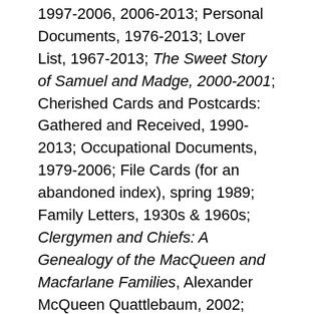1997-2006, 2006-2013; Personal Documents, 1976-2013; Lover List, 1967-2013; The Sweet Story of Samuel and Madge, 2000-2001; Cherished Cards and Postcards: Gathered and Received, 1990-2013; Occupational Documents, 1979-2006; File Cards (for an abandoned index), spring 1989; Family Letters, 1930s & 1960s; Clergymen and Chiefs: A Genealogy of the MacQueen and Macfarlane Families, Alexander McQueen Quattlebaum, 2002; Great-Aunt Charlotte Project, 1994-1997; Head Starts: Allen Carroll's Opening Remarks, 1992-2001; Oversized Scrapbook, fall 1981; Mini Scrapbook